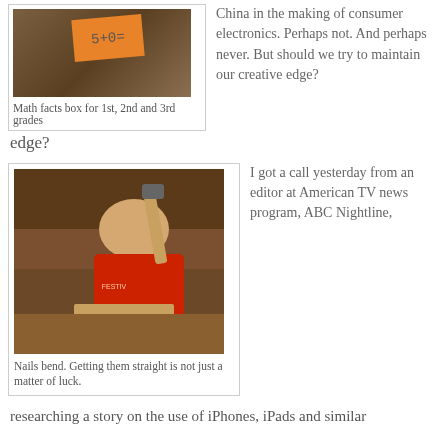[Figure (photo): Photo of a math facts box with an orange card showing '5+0=' on top of a wooden box, for 1st, 2nd and 3rd grades]
Math facts box for 1st, 2nd and 3rd grades
China in the making of consumer electronics. Perhaps not. And perhaps never. But should we try to maintain our creative edge?
[Figure (photo): Photo of a young boy in a red shirt hammering nails into wood on a table]
Nails bend. Getting them straight is not just a matter of luck.
I got a call yesterday from an editor at American TV news program, ABC Nightline,
researching a story on the use of iPhones, iPads and similar